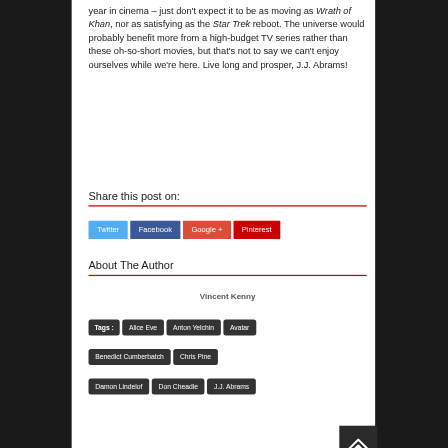year in cinema – just don't expect it to be as moving as Wrath of Khan, nor as satisfying as the Star Trek reboot. The universe would probably benefit more from a high-budget TV series rather than these oh-so-short movies, but that's not to say we can't enjoy ourselves while we're here. Live long and prosper, J.J. Abrams!
Share this post on:
Twitter  Facebook  Google +  Pinterest
About The Author
Vincent Kenny
Tags :  Alice Eve  Anton Yelchin  Avatar  Benedict Cumberbatch  Chris Pine  Damon Lindelof  Don Cheadle  J.J. Abrams